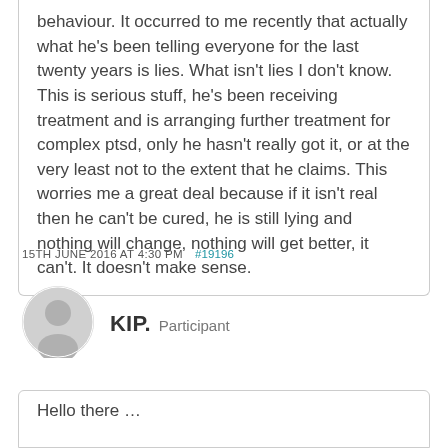behaviour. It occurred to me recently that actually what he's been telling everyone for the last twenty years is lies. What isn't lies I don't know. This is serious stuff, he's been receiving treatment and is arranging further treatment for complex ptsd, only he hasn't really got it, or at the very least not to the extent that he claims. This worries me a great deal because if it isn't real then he can't be cured, he is still lying and nothing will change, nothing will get better, it can't. It doesn't make sense.
15TH JUNE 2016 AT 4:30 PM  #19196
KIP.  Participant
Hello there …